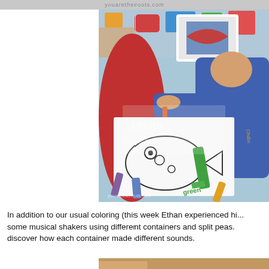youaretheroots.com
[Figure (photo): Child in blue sweater coloring a fish drawing at a table with crayons and a green marker, watermarked photo from youaretheroots.com]
In addition to our usual coloring (this week Ethan experienced hi... some musical shakers using different containers and split peas. discover how each container made different sounds.
[Figure (photo): Bottom partial thumbnail image]